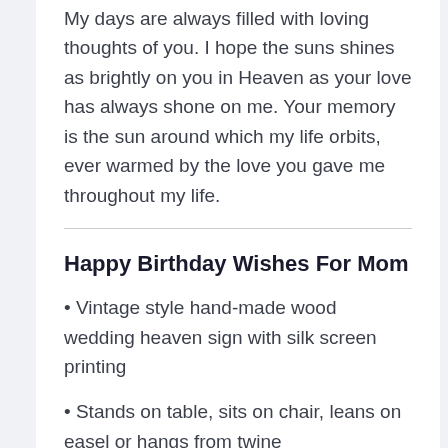My days are always filled with loving thoughts of you. I hope the suns shines as brightly on you in Heaven as your love has always shone on me. Your memory is the sun around which my life orbits, ever warmed by the love you gave me throughout my life.
Happy Birthday Wishes For Mom
Vintage style hand-made wood wedding heaven sign with silk screen printing
Stands on table, sits on chair, leans on easel or hangs from twine